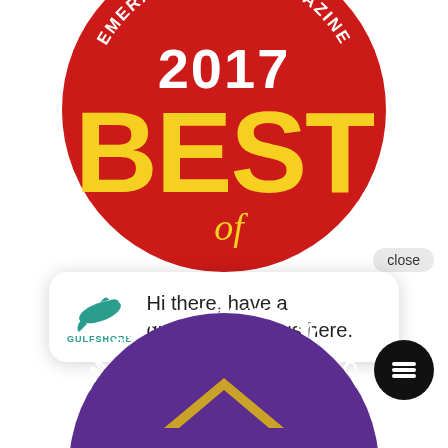[Figure (logo): Emerald Coast Magazine 2017 Best of the Emerald Coast award badge — red circle with yellow 'BEST' text, white '2017' and curved 'EMERALD COAST MAGAZINE' text, gold 'of' script at bottom]
close
[Figure (other): Chat bubble popup from Gulfshore with dolphin logo and text: 'Hi there, have a question? Text us here.']
[Figure (logo): American Technician Excellence badge — purple circle with gold chevron/arrow mark, curved text 'AMERICAN TECHNICIAN EXCE' visible at top]